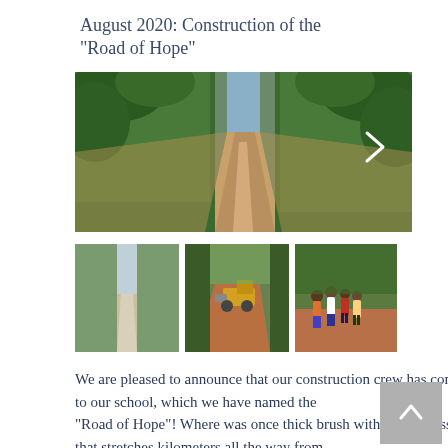August 2020: Construction of the "Road of Hope"
[Figure (photo): A wide dirt road stretching through dense tropical vegetation, freshly cleared through green banana plantations. A navigation arrow (chevron right) is visible on the right side, indicating a slideshow.]
[Figure (photo): Thumbnail 1: A pale dusty dirt road through tropical greenery.]
[Figure (photo): Thumbnail 2: A yellow road grader/bulldozer working on a red dirt road through tropical vegetation.]
[Figure (photo): Thumbnail 3: A group of local children standing together on a red dirt road amid greenery.]
We are pleased to announce that our construction crew has completed the road to our school, which we have named the "Road of Hope"! Where was once thick brush with zero access, now stands a road that stretches kilometers all the way from the village to our school land! The local children even came out to check out our